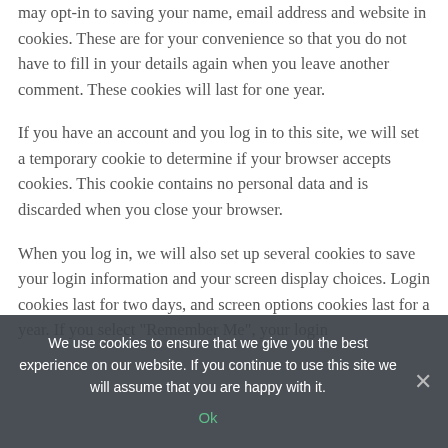may opt-in to saving your name, email address and website in cookies. These are for your convenience so that you do not have to fill in your details again when you leave another comment. These cookies will last for one year.
If you have an account and you log in to this site, we will set a temporary cookie to determine if your browser accepts cookies. This cookie contains no personal data and is discarded when you close your browser.
When you log in, we will also set up several cookies to save your login information and your screen display choices. Login cookies last for two days, and screen options cookies last for a year. If you select "Remember Me", your login
We use cookies to ensure that we give you the best experience on our website. If you continue to use this site we will assume that you are happy with it.